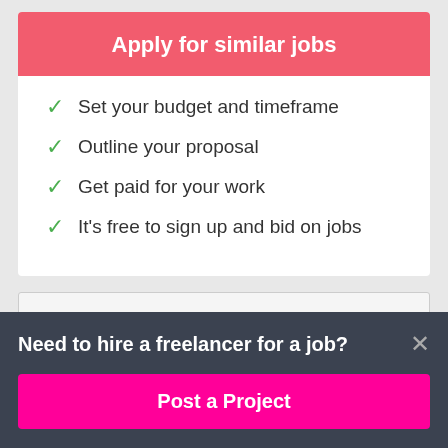Apply for similar jobs
Set your budget and timeframe
Outline your proposal
Get paid for your work
It's free to sign up and bid on jobs
Post a project like this
Need to hire a freelancer for a job?
Post a Project